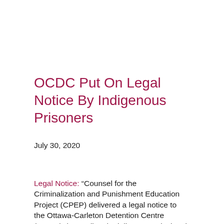OCDC Put On Legal Notice By Indigenous Prisoners
July 30, 2020
Legal Notice: “Counsel for the Criminalization and Punishment Education Project (CPEP) delivered a legal notice to the Ottawa-Carleton Detention Centre (OCDC) demanding the jail respects its legal responsibilities to accommodate the spiritual and cultural needs of incarcerated Indigenous persons within two weeks. The legal notice is endorsed by more than 70 civil society organizations including the Congress of Aboriginal Peoples and 6 prominent advocates for Indigenous justice. It comes only a few days after prisoners